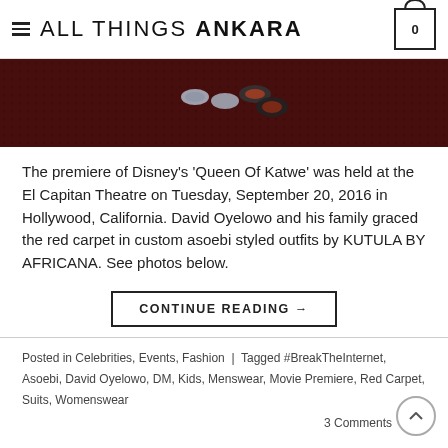ALL THINGS ANKARA
[Figure (photo): Red carpet photo showing feet/shoes on a dark red carpet surface]
The premiere of Disney's 'Queen Of Katwe' was held at the El Capitan Theatre on Tuesday, September 20, 2016 in Hollywood, California. David Oyelowo and his family graced the red carpet in custom asoebi styled outfits by KUTULA BY AFRICANA. See photos below.
CONTINUE READING →
Posted in Celebrities, Events, Fashion | Tagged #BreakTheInternet, Asoebi, David Oyelowo, DM, Kids, Menswear, Movie Premiere, Red Carpet, Suits, Womenswear    3 Comments